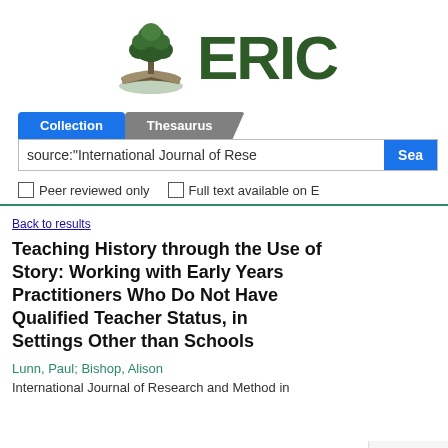[Figure (logo): ERIC logo with tree and open book icon, and bold green ERIC text]
Collection | Thesaurus tabs and search bar with query: source:"International Journal of Rese"
Peer reviewed only   Full text available on E
Back to results
Teaching History through the Use of Story: Working with Early Years Practitioners Who Do Not Have Qualified Teacher Status, in Settings Other than Schools
Lunn, Paul; Bishop, Alison
International Journal of Research and Method in